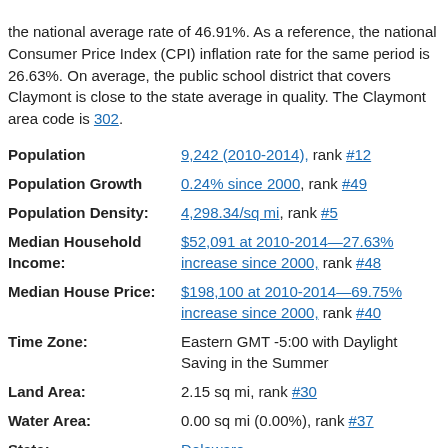the national average rate of 46.91%. As a reference, the national Consumer Price Index (CPI) inflation rate for the same period is 26.63%. On average, the public school district that covers Claymont is close to the state average in quality. The Claymont area code is 302.
| Label | Value |
| --- | --- |
| Population | 9,242 (2010-2014), rank #12 |
| Population Growth | 0.24% since 2000, rank #49 |
| Population Density: | 4,298.34/sq mi, rank #5 |
| Median Household Income: | $52,091 at 2010-2014—27.63% increase since 2000, rank #48 |
| Median House Price: | $198,100 at 2010-2014—69.75% increase since 2000, rank #40 |
| Time Zone: | Eastern GMT -5:00 with Daylight Saving in the Summer |
| Land Area: | 2.15 sq mi, rank #30 |
| Water Area: | 0.00 sq mi (0.00%), rank #37 |
| State: | Delaware |